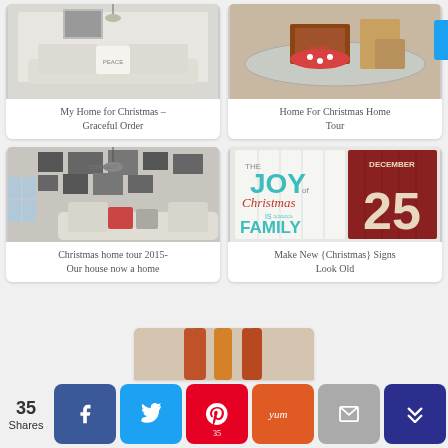[Figure (photo): Living room with white sofa and PEACE pillow - My Home for Christmas]
My Home for Christmas – Graceful Order
[Figure (photo): Christmas home decor items on a glass table - Home For Christmas Home Tour]
Home For Christmas Home Tour
[Figure (photo): Living room with white couch and gallery wall - Christmas home tour 2015]
Christmas home tour 2015- Our house now a home
[Figure (photo): Christmas signs - The Joy of Christmas is Family, December 25]
Make New {Christmas} Signs Look Old
[Figure (photo): Partial view of hanging decorations - bottom card]
35 Shares